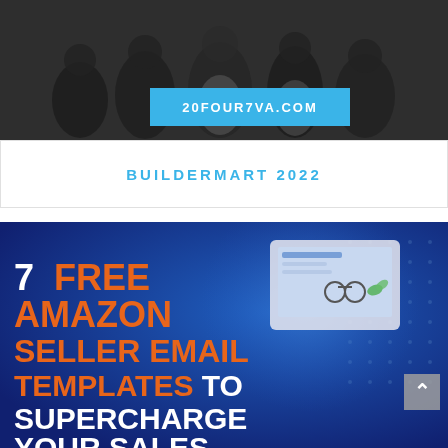[Figure (photo): Grayscale photo of a group of people with a blue banner showing '20FOUR7VA.COM']
BUILDERMART 2022
[Figure (infographic): Blue background promotional graphic with text: 7 FREE AMAZON SELLER EMAIL TEMPLATES TO SUPERCHARGE YOUR SALES, alongside an image of a person on a tablet/laptop with ecommerce product icons]